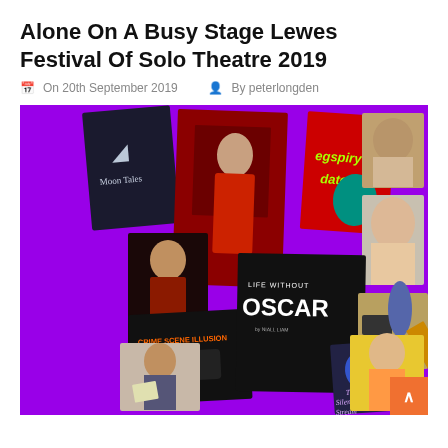Alone On A Busy Stage Lewes Festival Of Solo Theatre 2019
On 20th September 2019   By peterlongden
[Figure (photo): Collage of theatre show promotional images and performer headshots on a purple background. Includes: Moon Tales poster, a performer in red royal robes, Eggspiry Date poster, male headshot, female headshot, Crime Scene Illusion poster, Life Without Oscar poster, performer on stage with amp, woman reading, The Silent Stream poster, man with conductor's baton, woman in colorful scene.]